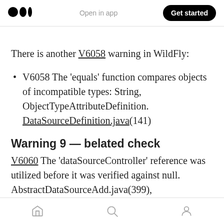Medium logo | Open in app | Get started
There is another V6058 warning in WildFly:
V6058 The 'equals' function compares objects of incompatible types: String, ObjectTypeAttributeDefinition. DataSourceDefinition.java(141)
Warning 9 — belated check
V6060 The 'dataSourceController' reference was utilized before it was verified against null. AbstractDataSourceAdd.java(399),
Home | Search | Profile